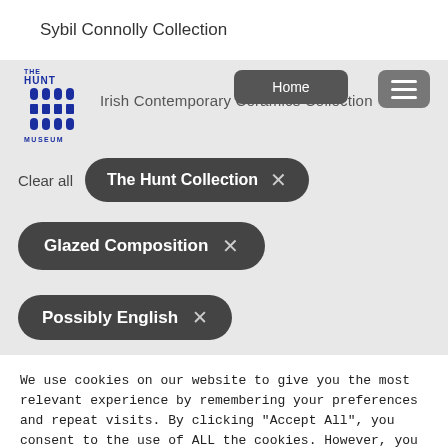Sybil Connolly Collection
[Figure (logo): The Hunt Museum logo — blue text and building illustration]
Irish Contemporary Ceramics Collection
Home
Clear all
The Hunt Collection ×
Glazed Composition ×
Possibly English ×
We use cookies on our website to give you the most relevant experience by remembering your preferences and repeat visits. By clicking "Accept All", you consent to the use of ALL the cookies. However, you may visit "Cookie Settings" to provide a controlled consent.
Cookie Settings
Accept All